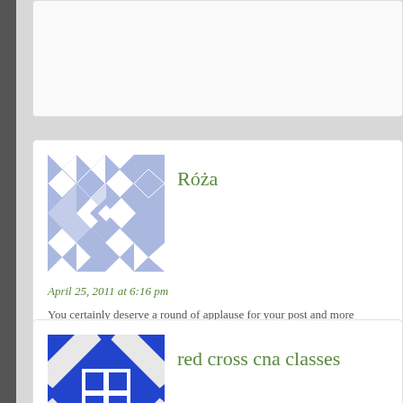[Figure (other): User avatar for Róża — blue and white geometric quilt pattern]
Róża
April 25, 2011 at 6:16 pm
You certainly deserve a round of applause for your post and more specifically, your quality material!
[Figure (other): User avatar for red cross cna classes — blue geometric diamond pattern]
red cross cna classes
May 3, 2011 at 9:08 pm
We are a small group of volunteers and are starting off a brand new related site. You important info to work upon. You have completed a splendid work!